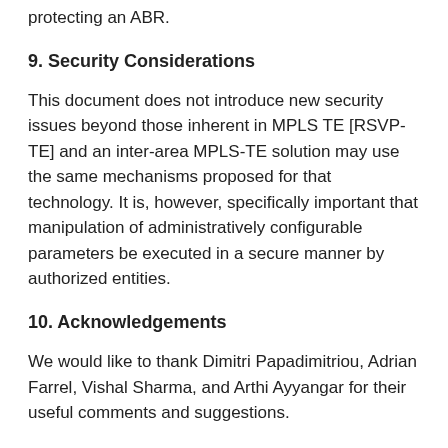protecting an ABR.
9. Security Considerations
This document does not introduce new security issues beyond those inherent in MPLS TE [RSVP-TE] and an inter-area MPLS-TE solution may use the same mechanisms proposed for that technology. It is, however, specifically important that manipulation of administratively configurable parameters be executed in a secure manner by authorized entities.
10. Acknowledgements
We would like to thank Dimitri Papadimitriou, Adrian Farrel, Vishal Sharma, and Arthi Ayyangar for their useful comments and suggestions.
11. Contributing Authors
This document was the collective work of several authors. The content of this document represents that of the